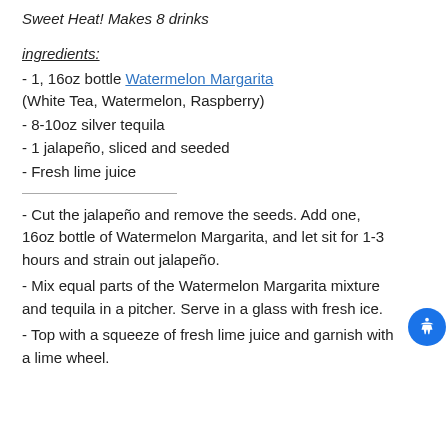Sweet Heat! Makes 8 drinks
ingredients:
- 1, 16oz bottle Watermelon Margarita (White Tea, Watermelon, Raspberry)
- 8-10oz silver tequila
- 1 jalapeño, sliced and seeded
- Fresh lime juice
- Cut the jalapeño and remove the seeds. Add one, 16oz bottle of Watermelon Margarita, and let sit for 1-3 hours and strain out jalapeño.
- Mix equal parts of the Watermelon Margarita mixture and tequila in a pitcher. Serve in a glass with fresh ice.
- Top with a squeeze of fresh lime juice and garnish with a lime wheel.